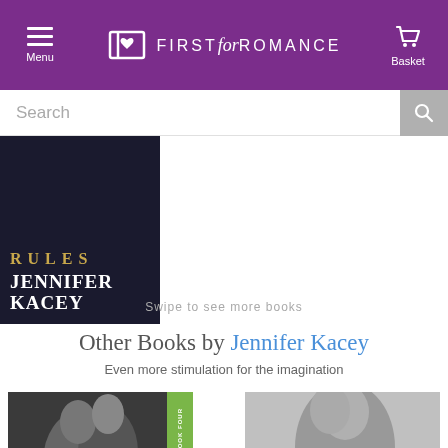Menu | FIRST for ROMANCE | Basket
Search
[Figure (photo): Partial book cover showing title RULES and author JENNIFER KACEY on dark background]
Swipe to see more books
Other Books by Jennifer Kacey
Even more stimulation for the imagination
[Figure (photo): Black and white photo of couple close together, green SERIES BOOK FOUR spine label on right side]
[Figure (photo): Black and white photo of woman with head tilted back]